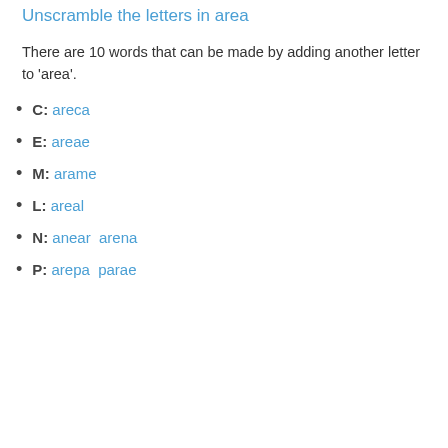Unscramble the letters in area
There are 10 words that can be made by adding another letter to 'area'.
C: areca
E: areae
M: arame
L: areal
N: anear  arena
P: arepa  parae